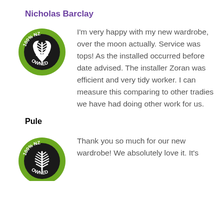Nicholas Barclay
[Figure (logo): 100% NZ Owned circular badge with silver fern on black background and green border]
I'm very happy with my new wardrobe, over the moon actually.  Service was tops! As the installed occurred before date advised.  The installer Zoran was efficient and very tidy worker.  I can measure this comparing to other tradies we have had doing other work for us.
Pule
[Figure (logo): 100% NZ Owned circular badge with silver fern on black background and green border (partially visible)]
Thank you so much for our new wardrobe! We absolutely love it. It's